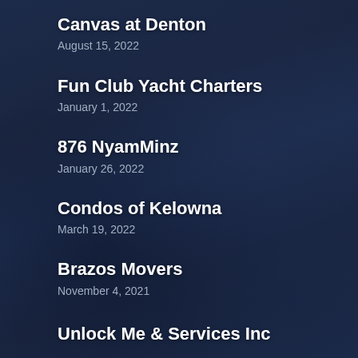Canvas at Denton
August 15, 2022
Fun Club Yacht Charters
January 1, 2022
876 NyamMinz
January 26, 2022
Condos of Kelowna
March 19, 2022
Brazos Movers
November 4, 2021
Unlock Me & Services Inc